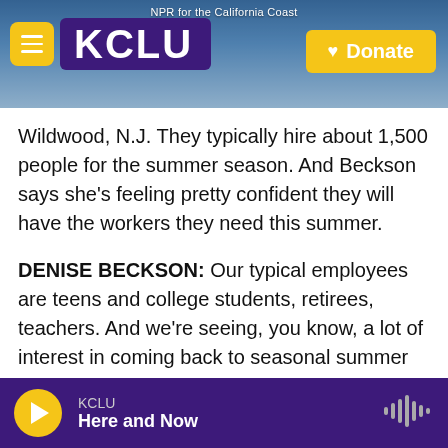KCLU — NPR for the California Coast
Wildwood, N.J. They typically hire about 1,500 people for the summer season. And Beckson says she's feeling pretty confident they will have the workers they need this summer.
DENISE BECKSON: Our typical employees are teens and college students, retirees, teachers. And we're seeing, you know, a lot of interest in coming back to seasonal summer jobs.
HORSLEY: There was a pretty sizable jump last month in people aged 55 and older coming out of retirement and looking for jobs. You can see that as
KCLU — Here and Now